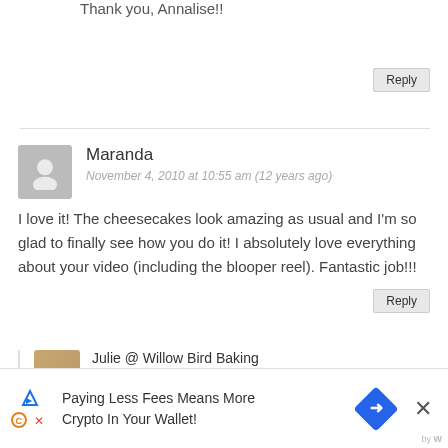Thank you, Annalise!!
Reply
Maranda
November 4, 2010 at 10:55 am (12 years ago)
I love it! The cheesecakes look amazing as usual and I'm so glad to finally see how you do it! I absolutely love everything about your video (including the blooper reel). Fantastic job!!!
Reply
Julie @ Willow Bird Baking
November 4, 2010 at 11:19 am (12 years ago)
Thank you, Maranda!!
Paying Less Fees Means More Crypto In Your Wallet!